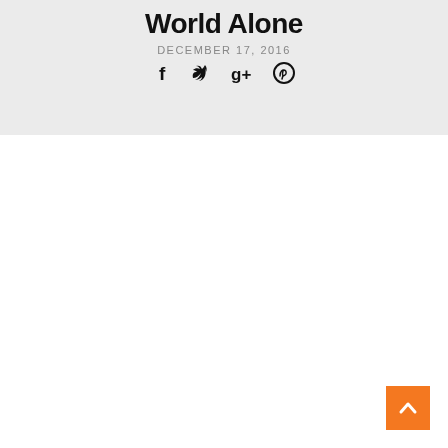World Alone
DECEMBER 17, 2016
[Figure (other): Social sharing icons: Facebook (f), Twitter (bird), Google+ (g+), Pinterest (p)]
[Figure (other): Orange back-to-top button with upward chevron arrow, positioned bottom-right]